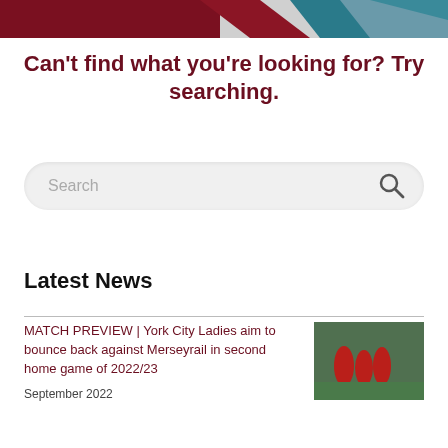[Figure (illustration): Header banner with dark red/maroon on left, teal/blue shape on right, grey background]
Can't find what you're looking for? Try searching.
[Figure (screenshot): Search input box with placeholder text 'Search' and a search icon on the right]
Latest News
MATCH PREVIEW | York City Ladies aim to bounce back against Merseyrail in second home game of 2022/23
September 2022